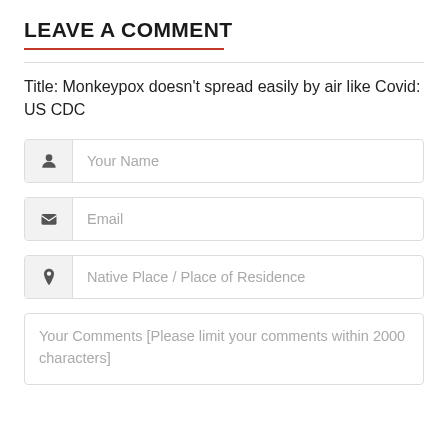LEAVE A COMMENT
Title: Monkeypox doesn't spread easily by air like Covid: US CDC
Your Name
Email
Native Place / Place of Residence
Your Comments [Please limit your comments within 2000 characters]